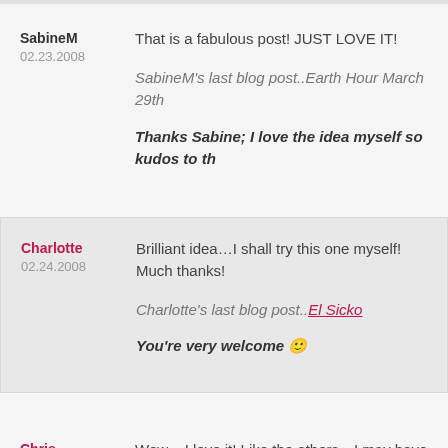SabineM
02.23.2008
That is a fabulous post! JUST LOVE IT!
SabineM's last blog post..Earth Hour March 29th
Thanks Sabine; I love the idea myself so kudos to th
Charlotte
02.24.2008
Brilliant idea…I shall try this one myself! Much thanks!
Charlotte's last blog post..El Sicko
You're very welcome 🙂
Chris
02.24.2008
Wow – I love it! Like the others…I may have to try this o myself in trouble! ha ha ha